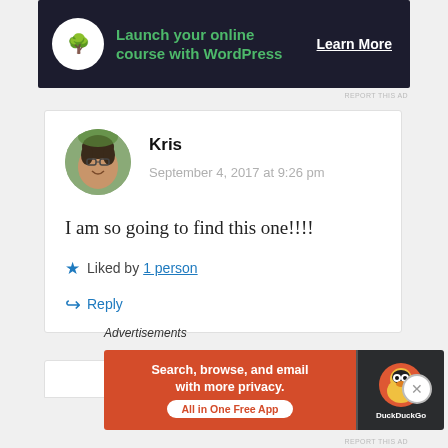[Figure (other): Advertisement banner: dark background with bonsai tree icon, green text 'Launch your online course with WordPress', white 'Learn More' button]
REPORT THIS AD
Kris
September 4, 2017 at 9:26 pm

I am so going to find this one!!!!

★ Liked by 1 person
↪ Reply
[Figure (other): Partial second comment card, white background with border]
Advertisements
[Figure (other): DuckDuckGo advertisement: orange left section with 'Search, browse, and email with more privacy. All in One Free App', dark right section with DuckDuckGo duck logo]
REPORT THIS AD